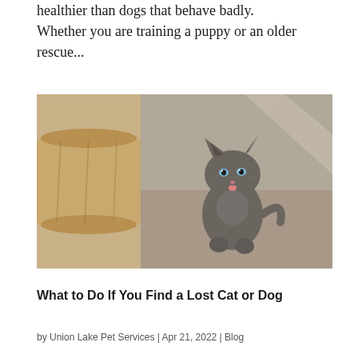healthier than dogs that behave badly. Whether you are training a puppy or an older rescue...
[Figure (photo): A small gray kitten sitting on a concrete surface outdoors, tongue slightly sticking out, with blue eyes, beside a wooden log on the left side of the frame.]
What to Do If You Find a Lost Cat or Dog
by Union Lake Pet Services | Apr 21, 2022 | Blog